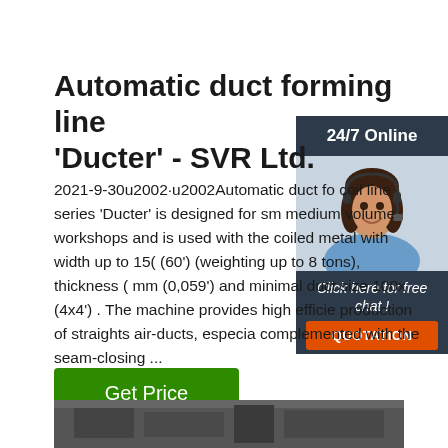Automatic duct forming line 'Ducter' - SVR Ltd.
2021-9-30u2002·u2002Automatic duct forming coil line series 'Ducter' is designed for small and medium volume workshops and is used for working with the coiled metal with width up to 1500 mm (60') (weighting up to 8 tons), thickness 0.5-1.5 mm (0,059') and minimal duct size 100x100 mm (4x4') . The machine provides high efficiency production of straights air-ducts, especially when complemented with the seam-closing ...
[Figure (photo): Customer service representative - 24/7 Online chat panel with photo of woman wearing headset, and QUOTATION button]
Get Price
[Figure (photo): Partial view of industrial duct forming machine equipment at the bottom of the page]